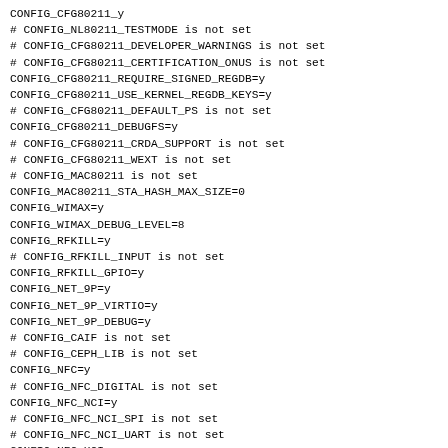CONFIG_CFG80211_y
# CONFIG_NL80211_TESTMODE is not set
# CONFIG_CFG80211_DEVELOPER_WARNINGS is not set
# CONFIG_CFG80211_CERTIFICATION_ONUS is not set
CONFIG_CFG80211_REQUIRE_SIGNED_REGDB=y
CONFIG_CFG80211_USE_KERNEL_REGDB_KEYS=y
# CONFIG_CFG80211_DEFAULT_PS is not set
CONFIG_CFG80211_DEBUGFS=y
# CONFIG_CFG80211_CRDA_SUPPORT is not set
# CONFIG_CFG80211_WEXT is not set
# CONFIG_MAC80211 is not set
CONFIG_MAC80211_STA_HASH_MAX_SIZE=0
CONFIG_WIMAX=y
CONFIG_WIMAX_DEBUG_LEVEL=8
CONFIG_RFKILL=y
# CONFIG_RFKILL_INPUT is not set
CONFIG_RFKILL_GPIO=y
CONFIG_NET_9P=y
CONFIG_NET_9P_VIRTIO=y
CONFIG_NET_9P_DEBUG=y
# CONFIG_CAIF is not set
# CONFIG_CEPH_LIB is not set
CONFIG_NFC=y
# CONFIG_NFC_DIGITAL is not set
CONFIG_NFC_NCI=y
# CONFIG_NFC_NCI_SPI is not set
# CONFIG_NFC_NCI_UART is not set
CONFIG_NFC_HCI=y
CONFIG_NFC_SHDLC=y

#